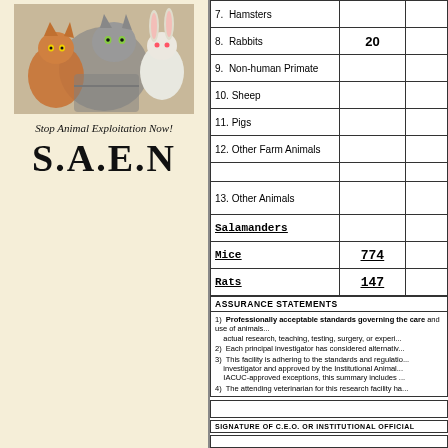[Figure (illustration): SAEN logo image: cats and rabbit with 'Stop Animal Exploitation Now!' text and large bold S.A.E.N. lettering]
| Animal Type | Count |  |
| --- | --- | --- |
| 7. Hamsters |  |  |
| 8. Rabbits | 20 |  |
| 9. Non-human Primate |  |  |
| 10. Sheep |  |  |
| 11. Pigs |  |  |
| 12. Other Farm Animals |  |  |
|  |  |  |
| 13. Other Animals |  |  |
| Salamanders |  |  |
| Mice | 774 |  |
| Rats | 147 |  |
ASSURANCE STATEMENTS
1) Professionally acceptable standards governing the care and use of animals... actual research, teaching, testing, surgery, or experiment...
2) Each principal investigator has considered alternatives...
3) This facility is adhering to the standards and regulations... investigator and approved by the Institutional Animal... IACUC-approved exceptions, this summary includes...
4) The attending veterinarian for this research facility ha...
SIGNATURE OF C.E.O. OR INSTITUTIONAL OFFICIAL